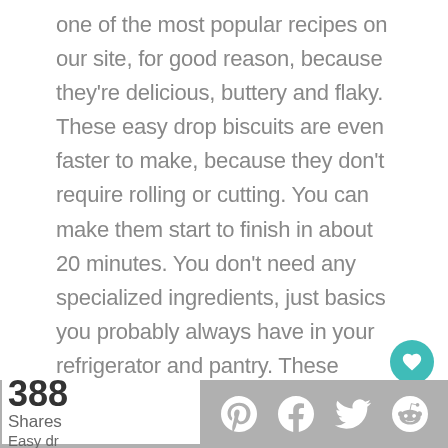one of the most popular recipes on our site, for good reason, because they're delicious, buttery and flaky. These easy drop biscuits are even faster to make, because they don't require rolling or cutting. You can make them start to finish in about 20 minutes. You don't need any specialized ingredients, just basics you probably always have in your refrigerator and pantry. These biscuits are crisp on the outside, tender and flaky on the inside, and taste great with just about any meal.
388 Shares Easy dr...